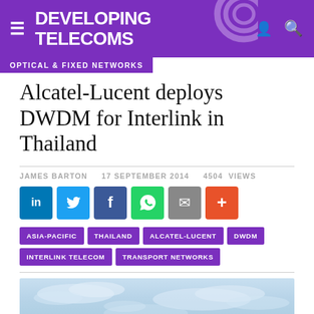DEVELOPING TELECOMS
OPTICAL & FIXED NETWORKS
Alcatel-Lucent deploys DWDM for Interlink in Thailand
JAMES BARTON   17 SEPTEMBER 2014   4504 views
[Figure (infographic): Social sharing buttons: LinkedIn, Twitter, Facebook, WhatsApp, Email, More]
ASIA-PACIFIC
THAILAND
ALCATEL-LUCENT
DWDM
INTERLINK TELECOM
TRANSPORT NETWORKS
[Figure (photo): A sky photograph with clouds, light blue tones.]